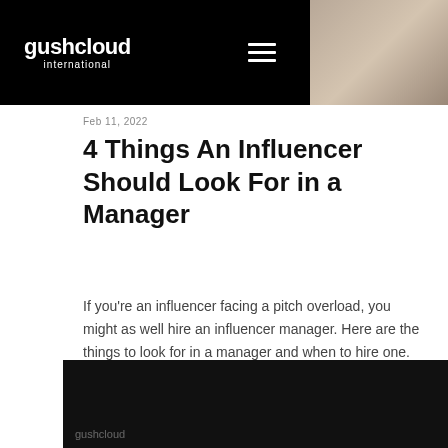gushcloud international
Feb 11, 2022
4 Things An Influencer Should Look For in a Manager
If you're an influencer facing a pitch overload, you might as well hire an influencer manager. Here are the things to look for in a manager and when to hire one.
Read More
[Figure (photo): Dark/black background image with gushcloud logo watermark at bottom left]